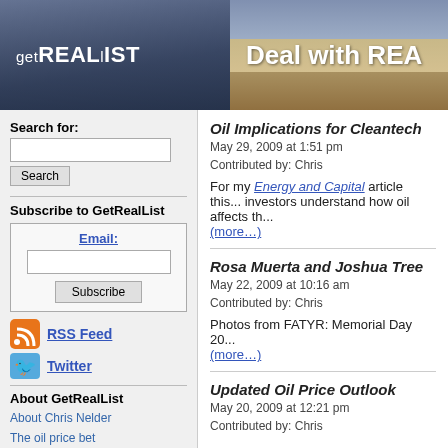[Figure (logo): GetRealList website header banner with logo on left dark blue background and 'Deal with REA' text on right desert landscape background]
Search for:
Subscribe to GetRealList
Email:
[Figure (logo): RSS Feed orange icon]
RSS Feed
[Figure (logo): Twitter blue bird icon]
Twitter
About GetRealList
About Chris Nelder
The oil price bet
Chris Nelder Speaking Engagements
Chris Nelder in the Media
Introduction to GetRealList
Fair Use Notice
Oil Implications for Cleantech
May 29, 2009 at 1:51 pm
Contributed by: Chris
For my Energy and Capital article this... investors understand how oil affects th... (more…)
Rosa Muerta and Joshua Tree
May 22, 2009 at 10:16 am
Contributed by: Chris
Photos from FATYR: Memorial Day 20... (more…)
Updated Oil Price Outlook
May 20, 2009 at 12:21 pm
Contributed by: Chris